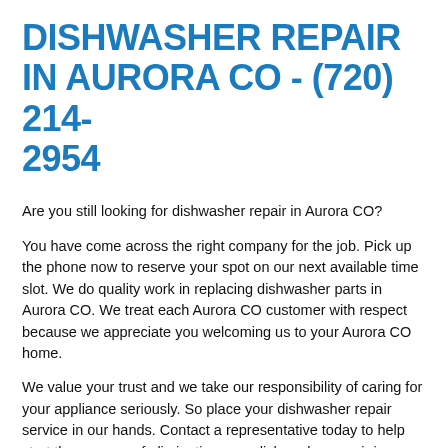DISHWASHER REPAIR IN AURORA CO - (720) 214-2954
Are you still looking for dishwasher repair in Aurora CO?
You have come across the right company for the job. Pick up the phone now to reserve your spot on our next available time slot. We do quality work in replacing dishwasher parts in Aurora CO. We treat each Aurora CO customer with respect because we appreciate you welcoming us to your Aurora CO home.
We value your trust and we take our responsibility of caring for your appliance seriously. So place your dishwasher repair service in our hands. Contact a representative today to help start the process of eliminating your dishwasher repair issues. Take your old fully functioning laundry room back as soon as possible.
Why wait a moment longer? Assistance can be on the way soon to